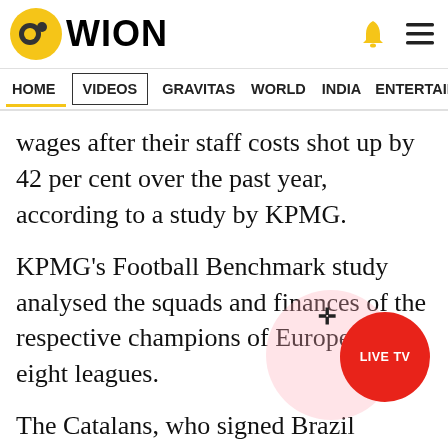WION
HOME  VIDEOS  GRAVITAS  WORLD  INDIA  ENTERTAINMENT  SPORTS
wages after their staff costs shot up by 42 per cent over the past year, according to a study by KPMG.
KPMG's Football Benchmark study analysed the squads and finances of the respective champions of Europe's top eight leagues.
The Catalans, who signed Brazil playmaker Philippe Coutinho from Liverpool in January 2018 for a club record 160 million euros (£ million), have staff costs of 562 million euros a year.